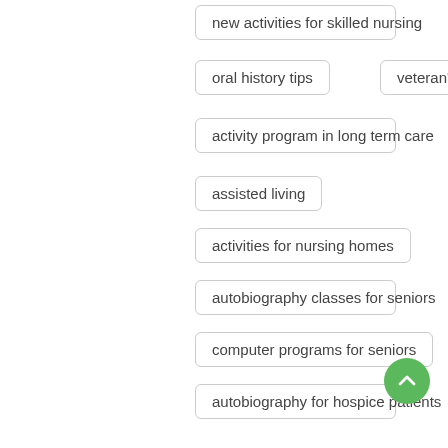new activities for skilled nursing
oral history tips
veteran's story
activity program in long term care
assisted living
activities for nursing homes
autobiography classes for seniors
computer programs for seniors
autobiography for hospice patients
biography for hospice patients
life stories for hospice patients